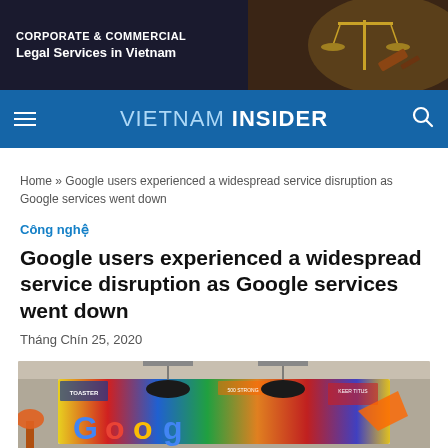[Figure (photo): Advertisement banner for Corporate & Commercial Legal Services in Vietnam, showing scales of justice and a gavel on dark background]
VIETNAM INSIDER
Home » Google users experienced a widespread service disruption as Google services went down
Công nghệ
Google users experienced a widespread service disruption as Google services went down
Tháng Chín 25, 2020
[Figure (photo): Interior photo of a Google office showing a colorful illustrated mural with the Google logo, pendant lamps hanging from ceiling, and office furniture visible]